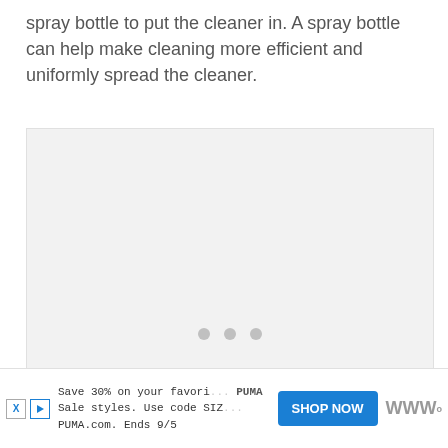spray bottle to put the cleaner in. A spray bottle can help make cleaning more efficient and uniformly spread the cleaner.
[Figure (other): Large light gray placeholder image area with three gray dots centered near the bottom, indicating a loading or empty image state.]
Save 30% on your favorite PUMA styles. Sale styles. Use code SIZ... PUMA.com. Ends 9/5